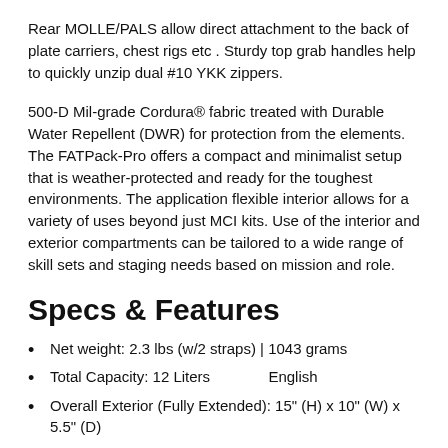Rear MOLLE/PALS allow direct attachment to the back of plate carriers, chest rigs etc . Sturdy top grab handles help to quickly unzip dual #10 YKK zippers.
500-D Mil-grade Cordura® fabric treated with Durable Water Repellent (DWR) for protection from the elements. The FATPack-Pro offers a compact and minimalist setup that is weather-protected and ready for the toughest environments. The application flexible interior allows for a variety of uses beyond just MCI kits. Use of the interior and exterior compartments can be tailored to a wide range of skill sets and staging needs based on mission and role.
Specs & Features
Net weight: 2.3 lbs (w/2 straps) | 1043 grams
Total Capacity: 12 Liters            English
Overall Exterior (Fully Extended): 15" (H) x 10" (W) x 5.5" (D)